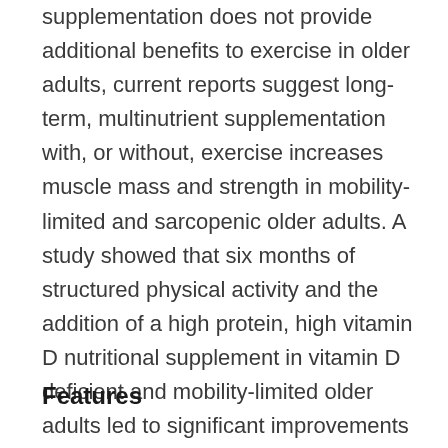supplementation does not provide additional benefits to exercise in older adults, current reports suggest long-term, multinutrient supplementation with, or without, exercise increases muscle mass and strength in mobility-limited and sarcopenic older adults. A study showed that six months of structured physical activity and the addition of a high protein, high vitamin D nutritional supplement in vitamin D deficient and mobility-limited older adults led to significant improvements in total-body composition and thigh-specific improvements in subcutaneous adipose tissue, intermuscular fat, muscle strength, power, and quality (2).
Features